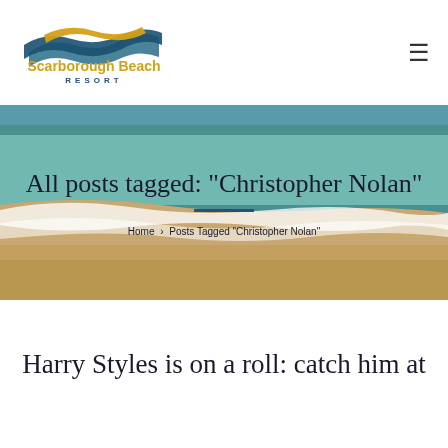[Figure (logo): Scarborough Beach Resort logo with wave graphic in blue and gold, text 'Scarborough Beach RESORT']
All posts tagged: "Christopher Nolan"
Home › Posts Tagged "Christopher Nolan"
Harry Styles is on a roll: catch him at